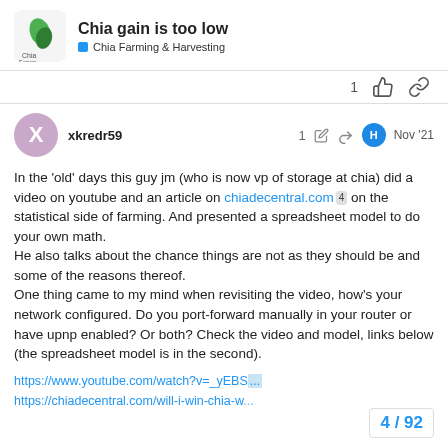Chia gain is too low — Chia Farming & Harvesting
xkredr59 — 1 edit — Nov '21
In the 'old' days this guy jm (who is now vp of storage at chia) did a video on youtube and an article on chiadecentral.com 4 on the statistical side of farming. And presented a spreadsheet model to do your own math.
He also talks about the chance things are not as they should be and some of the reasons thereof.
One thing came to my mind when revisiting the video, how's your network configured. Do you port-forward manually in your router or have upnp enabled? Or both? Check the video and model, links below (the spreadsheet model is in the second).
https://www.youtube.com/watch?v=_yEBS...
https://chiadecentral.com/will-i-win-chia-w...
4 / 92